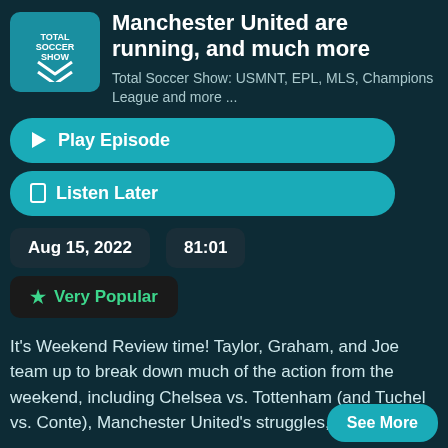[Figure (logo): Total Soccer Show logo with downward chevron arrows on teal background]
Manchester United are running, and much more
Total Soccer Show: USMNT, EPL, MLS, Champions League and more ...
▶ Play Episode
☐ Listen Later
Aug 15, 2022    81:01
★ Very Popular
It's Weekend Review time! Taylor, Graham, and Joe team up to break down much of the action from the weekend, including Chelsea vs. Tottenham (and Tuchel vs. Conte), Manchester United's struggles,
See More